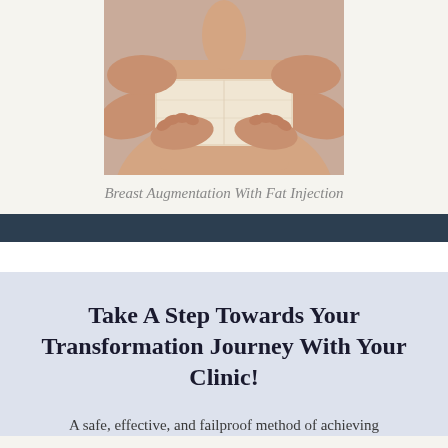[Figure (photo): A person holding a bandage or compression wrap around their chest area, shown from neck to waist, wearing a beige/cream strapless compression garment, hands pressing from both sides.]
Breast Augmentation With Fat Injection
Take A Step Towards Your Transformation Journey With Your Clinic!
A safe, effective, and failproof method of achieving